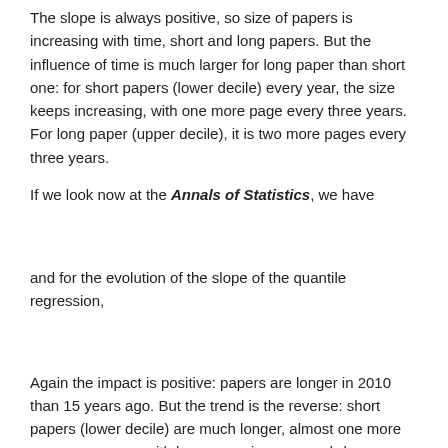The slope is always positive, so size of papers is increasing with time, short and long papers. But the influence of time is much larger for long paper than short one: for short papers (lower decile) every year, the size keeps increasing, with one more page every three years. For long paper (upper decile), it is two more pages every three years.
If we look now at the Annals of Statistics, we have
and for the evolution of the slope of the quantile regression,
Again the impact is positive: papers are longer in 2010 than 15 years ago. But the trend is the reverse: short papers (lower decile) are much longer, almost one more page every year, with long paper increase only by one more page every two years… Initially, I want to run such a study on a much longer term, with quantile regressions and splines to see when there might have been a change, both in lower and upper tails. Unfortunately, as suggested by some colleagues, there might have been some changes in the format of the journal (columns, margins, fonts, etc). That's a shame, because I rediscover nice short papers of 5-10 pages published 20 or 30 years ago. They are nice to read (and also potentially interesting for a post on the blog). 5 pages